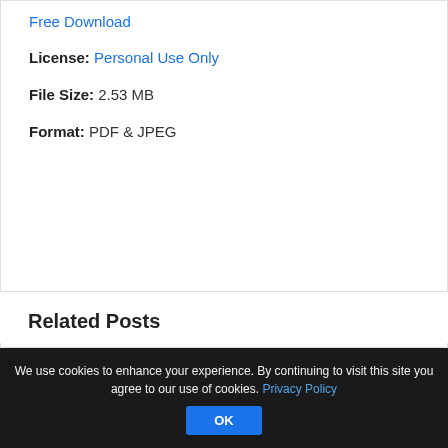Free Download
License: Personal Use Only
File Size: 2.53 MB
Format: PDF & JPEG
Related Posts
We use cookies to enhance your experience. By continuing to visit this site you agree to our use of cookies. Privacy Policy OK